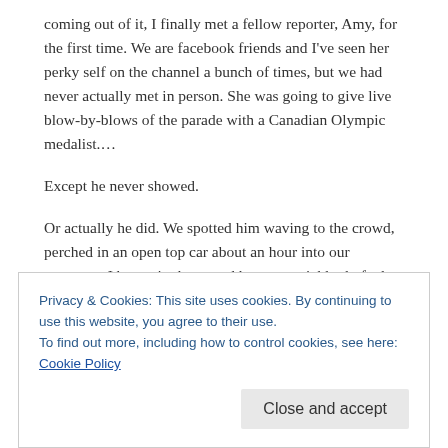coming out of it, I finally met a fellow reporter, Amy, for the first time. We are facebook friends and I've seen her perky self on the channel a bunch of times, but we had never actually met in person. She was going to give live blow-by-blows of the parade with a Canadian Olympic medalist.…
Except he never showed.
Or actually he did. We spotted him waving to the crowd, perched in an open top car about an hour into our coverage. I began in the crowd but was quickly drafted to the booth to work with Amy narrating the parade. That's a tough gig to do solo. And we had fun with it. We cracked jokes, I played the dumb blonde, we threw some cheesy stuff in there. Amy is smart, outgoing and way better at Twitter and social media
Privacy & Cookies: This site uses cookies. By continuing to use this website, you agree to their use.
To find out more, including how to control cookies, see here: Cookie Policy